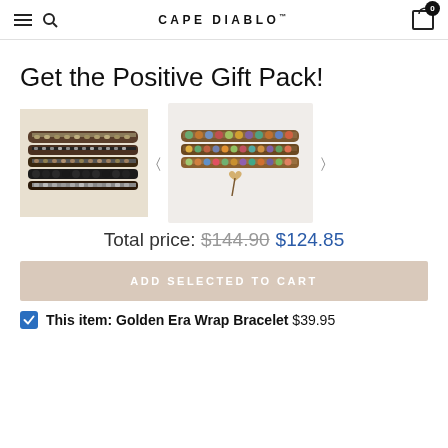CAPE DIABLO
Get the Positive Gift Pack!
[Figure (photo): Two wrap bracelets displayed side by side. Left: dark beaded layered wrap bracelet. Right: colorful beaded wrap bracelet with heart charm, shown on light background.]
Total price: $144.90 $124.85
ADD SELECTED TO CART
This item: Golden Era Wrap Bracelet $39.95